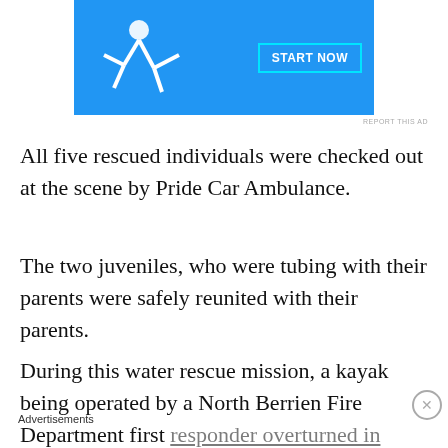[Figure (illustration): Advertisement banner showing a person flying/jumping against a blue background with a 'START NOW' button]
REPORT THIS AD
All five rescued individuals were checked out at the scene by Pride Car Ambulance.
The two juveniles, who were tubing with their parents were safely reunited with their parents.
During this water rescue mission, a kayak being operated by a North Berrien Fire Department first responder overturned in the individual was safely able
Advertisements
[Figure (illustration): Advertisement banner with dark background showing 'Teach freely - Make money selling online courses.' with a tree/person logo]